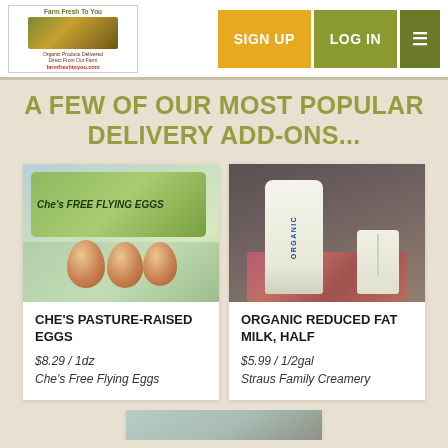[Figure (logo): Farm Fresh To You logo with farm imagery]
[Figure (other): Navigation buttons: SIGN UP (yellow), LOG IN (olive green), hamburger menu (dark green)]
A FEW OF OUR MOST POPULAR DELIVERY ADD-ONS...
[Figure (photo): Che's Free Flying Eggs carton with three brown eggs on a green patterned cloth]
CHE'S PASTURE-RAISED EGGS
$8.29 / 1dz
Che's Free Flying Eggs
[Figure (photo): Glass bottle of Straus Organic milk with a small jar and straw on a floral cloth, dark background]
ORGANIC REDUCED FAT MILK, HALF
$5.99 / 1/2gal
Straus Family Creamery
[Figure (photo): Partial view of another product card at the bottom of the page]